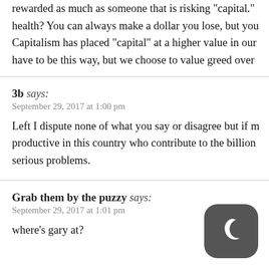rewarded as much as someone that is risking "capital." health? You can always make a dollar you lose, but you Capitalism has placed "capital" at a higher value in our have to be this way, but we choose to value greed over
3b says:
September 29, 2017 at 1:00 pm

Left I dispute none of what you say or disagree but if m productive in this country who contribute to the billion serious problems.
Grab them by the puzzy says:
September 29, 2017 at 1:01 pm

where's gary at?
[Figure (logo): Crescent moon icon on dark rounded square background]